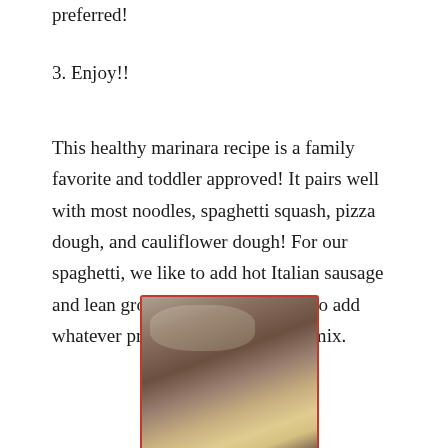preferred!
3. Enjoy!!
This healthy marinara recipe is a family favorite and toddler approved! It pairs well with most noodles, spaghetti squash, pizza dough, and cauliflower dough! For our spaghetti, we like to add hot Italian sausage and lean ground beef but feel free to add whatever protein you’d like to the mix.
[Figure (photo): A white bowl with a red rim filled with gnocchi or pasta topped with a meaty marinara sauce, served on a dark tray.]